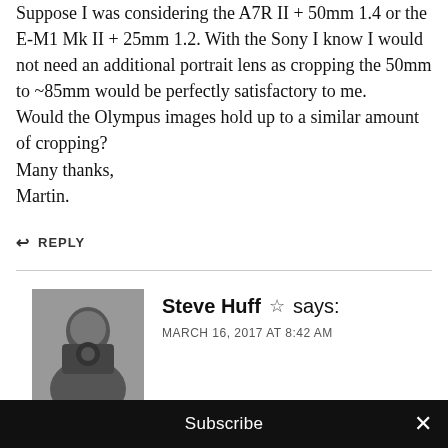Suppose I was considering the A7R II + 50mm 1.4 or the E-M1 Mk II + 25mm 1.2. With the Sony I know I would not need an additional portrait lens as cropping the 50mm to ~85mm would be perfectly satisfactory to me.
Would the Olympus images hold up to a similar amount of cropping?
Many thanks,
Martin.
↩ REPLY
Steve Huff ☆ says:
MARCH 16, 2017 AT 8:42 AM
[Figure (photo): Black and white avatar photo of Steve Huff holding a camera]
So you would want to crop the file from the
Subscribe ×